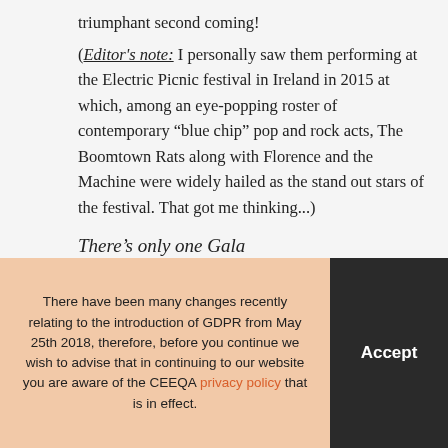triumphant second coming!
(Editor's note: I personally saw them performing at the Electric Picnic festival in Ireland in 2015 at which, among an eye-popping roster of contemporary “blue chip” pop and rock acts, The Boomtown Rats along with Florence and the Machine were widely hailed as the stand out stars of the festival. That got me thinking...)
There’s only one Gala
In its 16th year, CEEQA is the leading market insight platform and most trusted industry awards for commercial
There have been many changes recently relating to the introduction of GDPR from May 25th 2018, therefore, before you continue we wish to advise that in continuing to our website you are aware of the CEEQA privacy policy that is in effect.
Accept